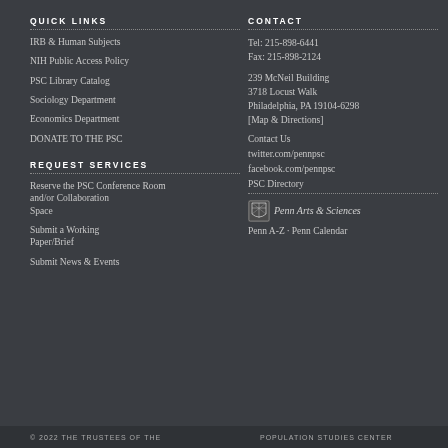QUICK LINKS
IRB & Human Subjects
NIH Public Access Policy
PSC Library Catalog
Sociology Department
Economics Department
DONATE TO THE PSC
REQUEST SERVICES
Reserve the PSC Conference Room and/or Collaboration Space
Submit a Working Paper/Brief
Submit News & Events
CONTACT
Tel: 215-898-6441
Fax: 215-898-2124
239 McNeil Building
3718 Locust Walk
Philadelphia, PA 19104-6298
[Map & Directions]
Contact Us
twitter.com/pennpsc
facebook.com/pennpsc
PSC Directory
[Figure (logo): Penn Arts & Sciences shield logo with text]
Penn A-Z · Penn Calendar
© 2022 THE TRUSTEES OF THE    POPULATION STUDIES CENTER